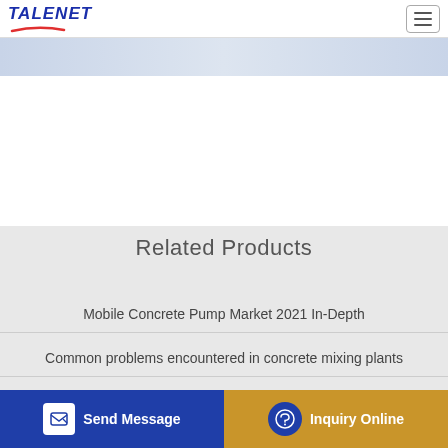TALENET
Related Products
Mobile Concrete Pump Market 2021 In-Depth
Common problems encountered in concrete mixing plants
MERCEDES-BENZ ACTROS 5050 10x6 concrete pump for
TEREX Mixer Trucks Asphalt Trucks Concrete Trucks For